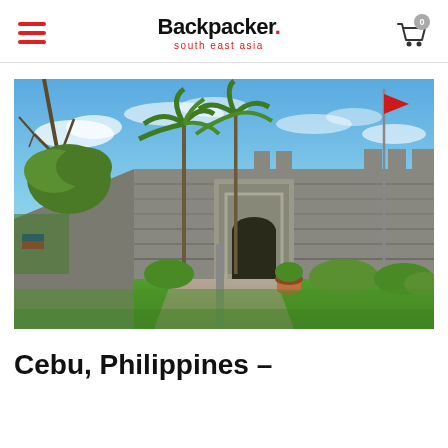Backpacker. south east asia
[Figure (photo): Photograph of Fort San Pedro in Cebu, Philippines. A large stone Spanish colonial fort with battlements, a central arched gateway with decorative stonework, flanked by tall palm trees and tropical greenery. Blue sky with light clouds above, lush green lawn in the foreground, Philippine flag visible on a flagpole.]
Cebu, Philippines –